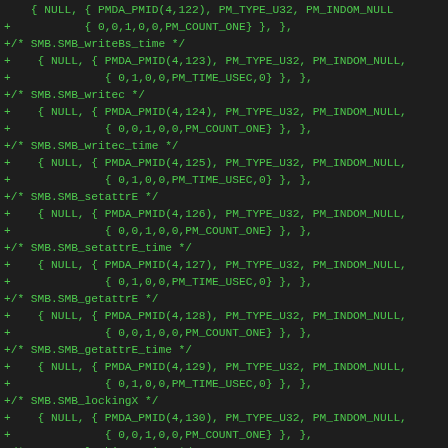[Figure (screenshot): Code diff snippet showing C struct definitions for SMB performance metrics including SMB_writeBs_time, SMB_writec, SMB_writec_time, SMB_setattrE, SMB_setattrE_time, SMB_getattrE, SMB_getattrE_time, SMB_lockingX, SMB_lockingX_time, SMB_trans, SMB_trans_time with PMDA_PMID macros from 123 to 132]